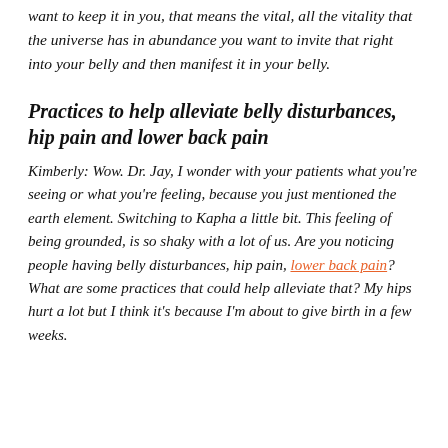want to keep it in you, that means the vital, all the vitality that the universe has in abundance you want to invite that right into your belly and then manifest it in your belly.
Practices to help alleviate belly disturbances, hip pain and lower back pain
Kimberly: Wow. Dr. Jay, I wonder with your patients what you're seeing or what you're feeling, because you just mentioned the earth element. Switching to Kapha a little bit. This feeling of being grounded, is so shaky with a lot of us. Are you noticing people having belly disturbances, hip pain, lower back pain? What are some practices that could help alleviate that? My hips hurt a lot but I think it's because I'm about to give birth in a few weeks.